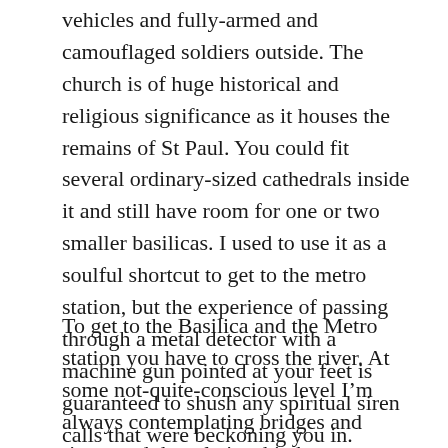vehicles and fully-armed and camouflaged soldiers outside. The church is of huge historical and religious significance as it houses the remains of St Paul. You could fit several ordinary-sized cathedrals inside it and still have room for one or two smaller basilicas. I used to use it as a soulful shortcut to get to the metro station, but the experience of passing through a metal detector with a machine gun pointed at your feet is guaranteed to shush any spiritual siren calls that were beckoning you in.
To get to the Basilica and the Metro station you have to cross the river. At some not-quite-conscious level I'm always contemplating bridges and rivers and the relationship between